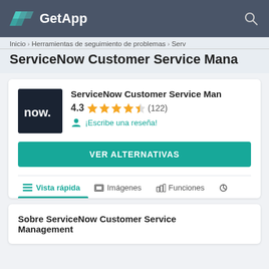GetApp
Inicio › Herramientas de seguimiento de problemas › Serv
ServiceNow Customer Service Mana
[Figure (logo): ServiceNow 'now.' logo in dark background]
ServiceNow Customer Service Man
4.3 ★★★★½ (122)
¡Escribe una reseña!
VER ALTERNATIVAS
Vista rápida
Imágenes
Funciones
Sobre ServiceNow Customer Service Management